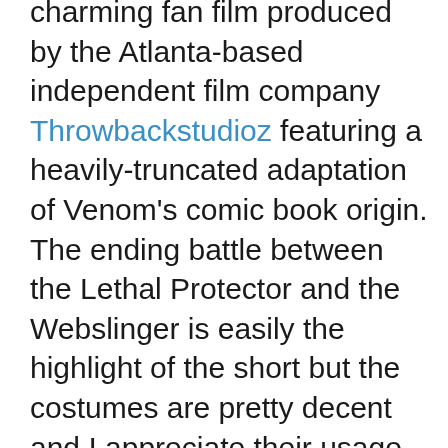charming fan film produced by the Atlanta-based independent film company Throwbackstudioz featuring a heavily-truncated adaptation of Venom's comic book origin. The ending battle between the Lethal Protector and the Webslinger is easily the highlight of the short but the costumes are pretty decent and I appreciate their usage of Udi Harpaz's wonderful score for Spider-Man: The Animated Series.